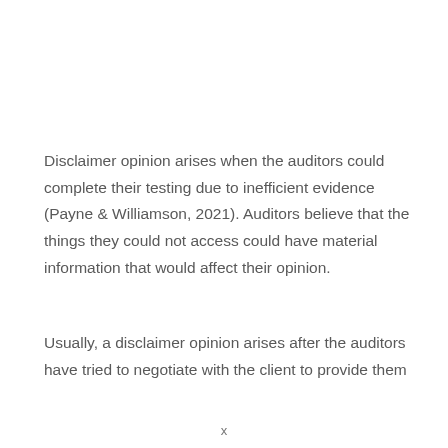Disclaimer opinion arises when the auditors could complete their testing due to inefficient evidence (Payne & Williamson, 2021). Auditors believe that the things they could not access could have material information that would affect their opinion.
Usually, a disclaimer opinion arises after the auditors have tried to negotiate with the client to provide them
x